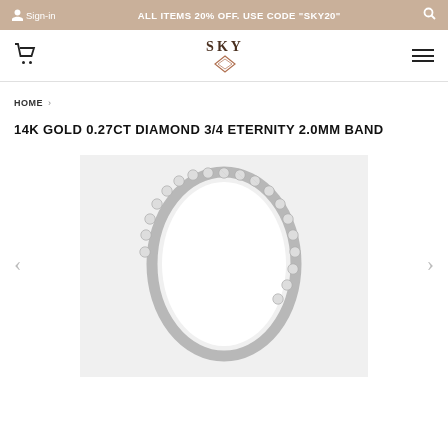Sign-in   ALL ITEMS 20% OFF. USE CODE "SKY20"   [search icon]
[Figure (logo): SKY jewelry brand logo with diamond icon]
HOME  ›
14K GOLD 0.27CT DIAMOND 3/4 ETERNITY 2.0MM BAND
[Figure (photo): A thin diamond eternity band ring with bezel-set round diamonds, photographed on a white/light grey background. The ring is shown at an angle revealing the circular shape with diamonds set around approximately 3/4 of the band.]